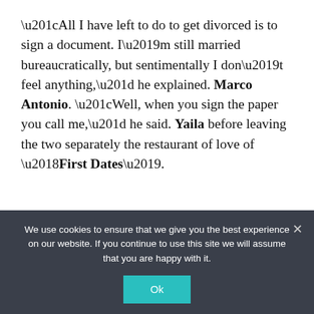“All I have left to do to get divorced is to sign a document. I’m still married bureaucratically, but sentimentally I don’t feel anything,” he explained. Marco Antonio. “Well, when you sign the paper you call me,” he said. Yaila before leaving the two separately the restaurant of love of ‘First Dates’.
Reference-www.marca.com
We use cookies to ensure that we give you the best experience on our website. If you continue to use this site we will assume that you are happy with it.